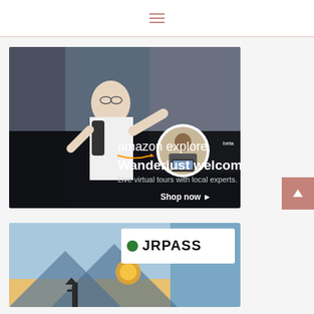hamburger menu icon
[Figure (illustration): Amazon Explore advertisement banner. Background shows a young man with glasses and backpack waving in a busy Asian market street. Bottom portion has dark overlay with Amazon Explore beta logo, headline 'Wanderlust welcome', subtext 'Live virtual tours with local experts.', 'Shop now' call to action. A circular inset photo shows a person with headphones using a laptop.]
[Figure (illustration): JR Pass advertisement banner. Background shows a scenic mountain landscape with blue sky. White overlay card on right side displays green circle bullet and 'JRPASS' text logo in black. Bottom shows a Japanese pagoda.]